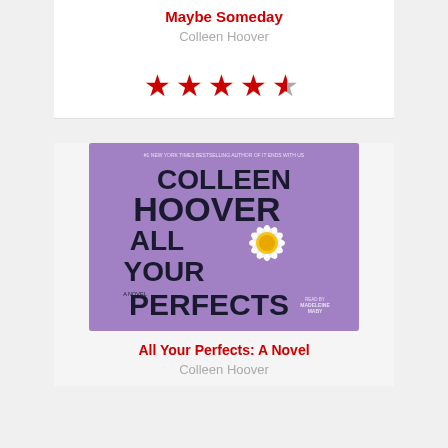Maybe Someday
Colleen Hoover
[Figure (infographic): Star rating showing 4.5 out of 5 stars in red/crimson color]
[Figure (illustration): Book cover of 'All Your Perfects: A Novel' by Colleen Hoover, featuring a daisy flower on a purple background, audiobook edition read by Madeleine Maby]
All Your Perfects: A Novel
Colleen Hoover